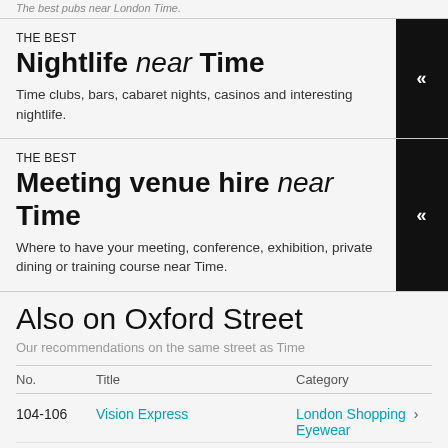The best pubs near London Time.
THE BEST
Nightlife near Time
Time clubs, bars, cabaret nights, casinos and interesting nightlife.
THE BEST
Meeting venue hire near Time
Where to have your meeting, conference, exhibition, private dining or training course near Time.
Also on Oxford Street
Our recommendations on the same street as Time
| No. | Title | Category |
| --- | --- | --- |
| 104-106 | Vision Express | London Shopping > Eyewear |